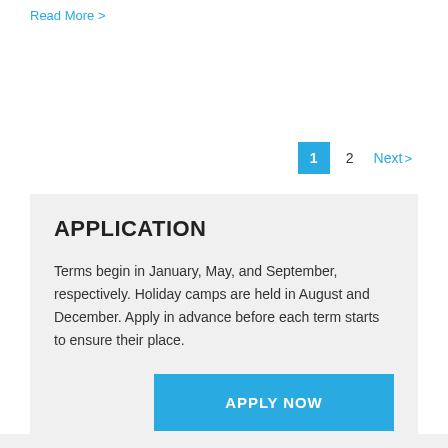Read More >
1  2  Next >
APPLICATION
Terms begin in January, May, and September, respectively. Holiday camps are held in August and December. Apply in advance before each term starts to ensure their place.
APPLY NOW